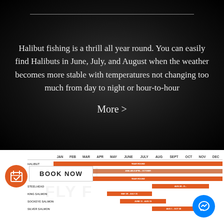Halibut fishing is a thrill all year round. You can easily find Halibuts in June, July, and August when the weather becomes more stable with temperatures not changing too much from day to night or hour-to-hour
More >
[Figure (infographic): Fishing season calendar chart showing species availability by month (JAN through DEC). Orange bars indicate open seasons. Species listed: Halibut (Year Round), Steelhead, King Salmon (May 29 - July 31), Sockeye Salmon (June 11 - Aug 15), Silver Salmon (Aug 1 - Oct 30). A 'BOOK NOW' button and orange calendar icon appear overlaid. Blue Facebook Messenger chat icon at bottom right. Watermark text 'KENAI FLY F...' visible.]